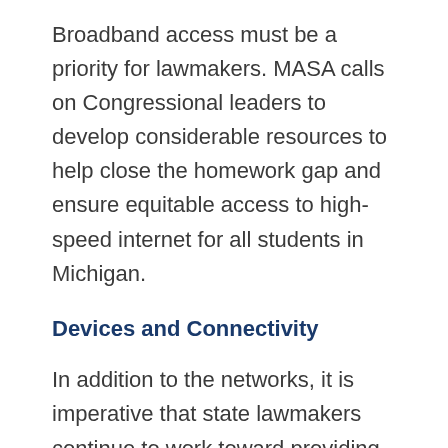Broadband access must be a priority for lawmakers. MASA calls on Congressional leaders to develop considerable resources to help close the homework gap and ensure equitable access to high-speed internet for all students in Michigan.
Devices and Connectivity
In addition to the networks, it is imperative that state lawmakers continue to work toward providing districts with the General Fund resources necessary to ensure that every child has access to devices